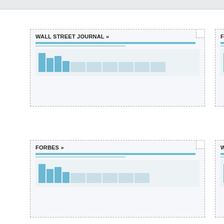[Figure (infographic): Wall Street Journal news card with dashed border, dog-ear corner, title 'WALL STREET JOURNAL »', blue bar, and placeholder content blocks]
[Figure (infographic): Fox News card with dashed border, title 'FOX NEWS »', blue bar, and placeholder content blocks (partially cropped on right)]
[Figure (infographic): Forbes card with dashed border, dog-ear corner, title 'FORBES »', blue bar, and placeholder content blocks]
[Figure (infographic): Washington card with dashed border, title 'WASHINGTON' (cropped), blue bar, and placeholder content blocks (partially cropped on right)]
[Figure (infographic): Time card with dashed border, dog-ear corner, title 'TIME »', blue bar, and placeholder content blocks]
[Figure (infographic): Huffington card with dashed border, title 'HUFFINGTON' (cropped), blue bar, and placeholder content blocks (partially cropped on right)]
[Figure (infographic): ABC News card with dashed border, title 'ABC NEWS »', blue bar, and placeholder content blocks (partially cropped on right)]
[Figure (infographic): San Francisco card with dashed border, title 'SAN FRANCISCO' (cropped), blue bar, and placeholder content blocks (partially cropped on right)]